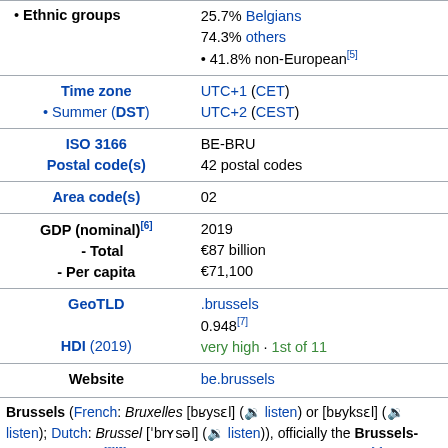| Field | Value |
| --- | --- |
| • Ethnic groups | 25.7% Belgians
74.3% others
• 41.8% non-European[5] |
| Time zone
• Summer (DST) | UTC+1 (CET)
UTC+2 (CEST) |
| ISO 3166
Postal code(s) | BE-BRU
42 postal codes |
| Area code(s) | 02 |
| GDP (nominal)[6]
- Total
- Per capita | 2019
€87 billion
€71,100 |
| GeoTLD
HDI (2019) | .brussels
0.948[7]
very high · 1st of 11 |
| Website | be.brussels |
Brussels (French: Bruxelles [bʁysɛl] (listen) or [bʁyksɛl] (listen); Dutch: Brussel [ˈbrʏsəl] (listen)), officially the Brussels-Capital Region[8][9] (French: Région de Bruxelles-Capitale;[a] Dutch: Brussels Hoofdstedelijk Gewest) [b] is a region of Belgium